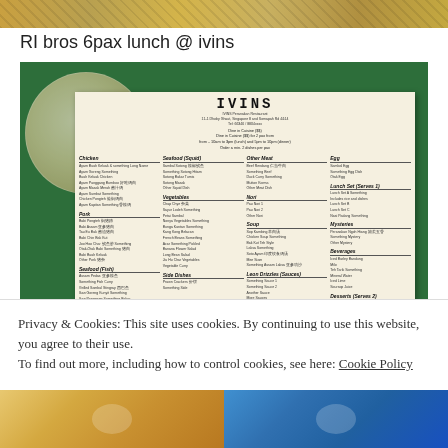[Figure (photo): Top decorative photo strip showing food images]
RI bros 6pax lunch @ ivins
[Figure (photo): Photo of IVINS restaurant menu spread on table with green tablecloth. Menu shows sections for Chicken, Pork, Seafood (Fish), Seafood (Prawn), Seafood (Squid), Vegetables, Other Meat, Nori, Soup, Leon Drizzles (Sauces), Side Dishes, Egg, Lunch Set, Mysteries, Beverages, Desserts (Serves 2), Le Guaci with prices. IVINS logo at top center.]
Privacy & Cookies: This site uses cookies. By continuing to use this website, you agree to their use.
To find out more, including how to control cookies, see here: Cookie Policy
[Figure (photo): Close-up thumbnail of food dish on the bottom left]
[Figure (photo): Thumbnail showing blue background with food on the bottom right]